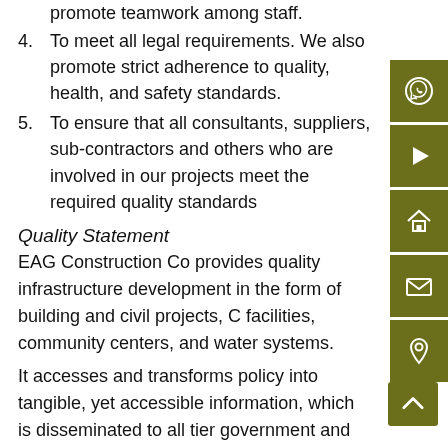promote teamwork among staff.
4. To meet all legal requirements. We also promote strict adherence to quality, health, and safety standards.
5. To ensure that all consultants, suppliers, sub-contractors and others who are involved in our projects meet the required quality standards
Quality Statement
EAG Construction Co provides quality infrastructure development in the form of building and civil projects, C facilities, community centers, and water systems.
It accesses and transforms policy into tangible, yet accessible information, which is disseminated to all tier government and local community structures.
Excellent working relationships have been established with other key players in the industry, which have yielded great